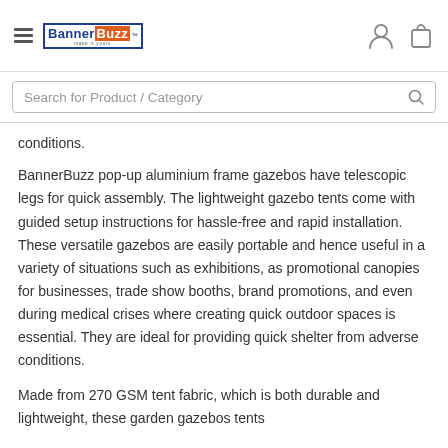BannerBuzz [logo] [hamburger menu] [user icon] [cart icon]
Search for Product / Category
conditions.
BannerBuzz pop-up aluminium frame gazebos have telescopic legs for quick assembly. The lightweight gazebo tents come with guided setup instructions for hassle-free and rapid installation. These versatile gazebos are easily portable and hence useful in a variety of situations such as exhibitions, as promotional canopies for businesses, trade show booths, brand promotions, and even during medical crises where creating quick outdoor spaces is essential. They are ideal for providing quick shelter from adverse conditions.
Made from 270 GSM tent fabric, which is both durable and lightweight, these garden gazebos tents